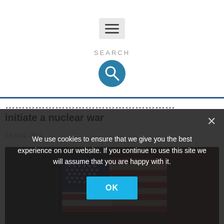[Figure (screenshot): Hamburger menu button icon (three horizontal lines) on a light gray rounded rectangle background]
SEARCH
[Figure (illustration): Teal circular search/magnifying glass icon button]
initiate a nuclear war
19 May 2021
[Figure (photo): Keyboard key with US American flag design (stars and stripes in red, white, blue), dark keyboard background]
We use cookies to ensure that we give you the best experience on our website. If you continue to use this site we will assume that you are happy with it.